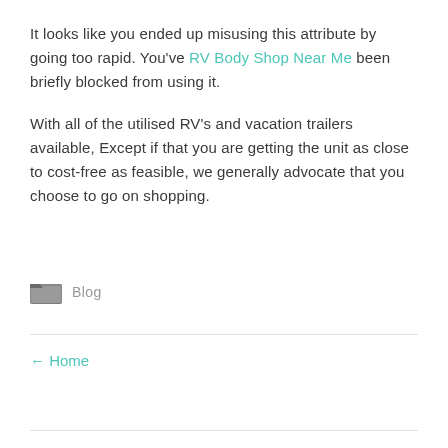It looks like you ended up misusing this attribute by going too rapid. You've RV Body Shop Near Me been briefly blocked from using it.
With all of the utilised RV's and vacation trailers available, Except if that you are getting the unit as close to cost-free as feasible, we generally advocate that you choose to go on shopping.
Blog
← Home